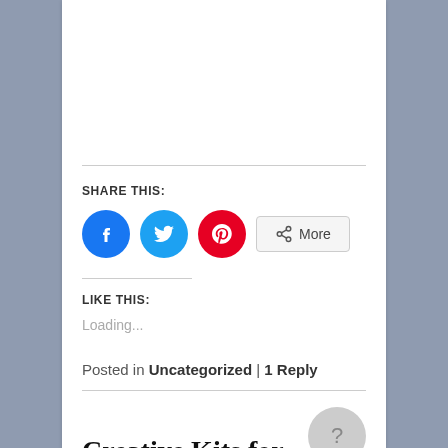SHARE THIS:
[Figure (illustration): Social sharing buttons: Facebook (blue circle), Twitter (blue circle), Pinterest (red circle), and a 'More' button with share icon]
LIKE THIS:
Loading...
Posted in Uncategorized | 1 Reply
Creative Kits for